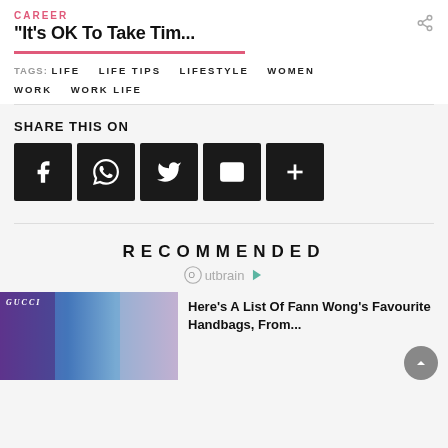CAREER
“It’s OK To Take Tim...
TAGS: LIFE   LIFE TIPS   LIFESTYLE   WOMEN
WORK   WORK LIFE
SHARE THIS ON
[Figure (infographic): Five dark square share buttons: Facebook, WhatsApp, Twitter, Email, and a plus icon]
RECOMMENDED
[Figure (logo): Outbrain logo with play button icon]
[Figure (photo): Fashion photo with GUCCI text overlay showing two women]
Here's A List Of Fann Wong’s Favourite Handbags, From...